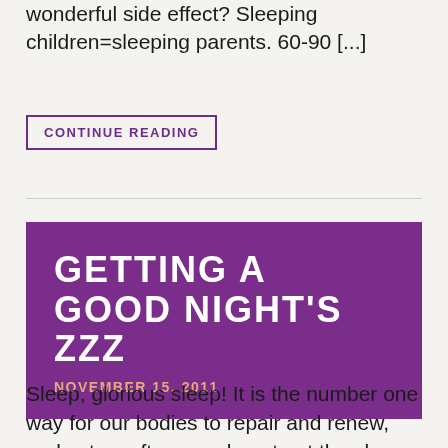wonderful side effect? Sleeping children=sleeping parents. 60-90 [...]
CONTINUE READING
GETTING A GOOD NIGHT'S ZZZ
NOVEMBER 15, 2011
Sleep, glorious sleep! It is the number one way for our bodies to repair and renew, and yet so often, we do not get the sleep we need. We just experienced the end of